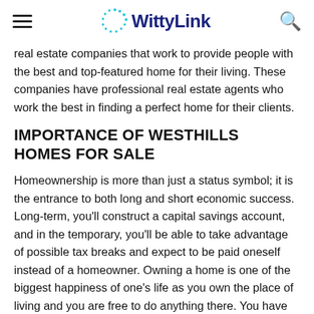WittyLink
real estate companies that work to provide people with the best and top-featured home for their living. These companies have professional real estate agents who work the best in finding a perfect home for their clients.
IMPORTANCE OF WESTHILLS HOMES FOR SALE
Homeownership is more than just a status symbol; it is the entrance to both long and short economic success. Long-term, you'll construct a capital savings account, and in the temporary, you'll be able to take advantage of possible tax breaks and expect to be paid oneself instead of a homeowner. Owning a home is one of the biggest happiness of one's life as you own the place of living and you are free to do anything there. You have your own premises and